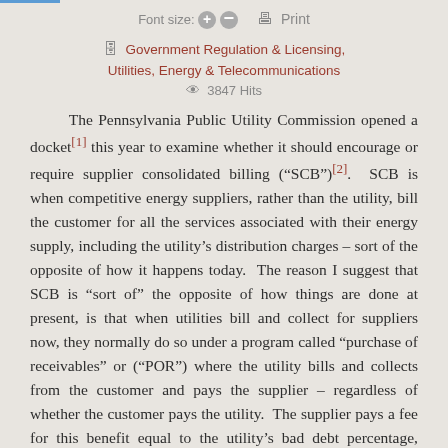Font size: + -   Print
Government Regulation & Licensing, Utilities, Energy & Telecommunications
3847 Hits
The Pennsylvania Public Utility Commission opened a docket[1] this year to examine whether it should encourage or require supplier consolidated billing (“SCB”)[2].  SCB is when competitive energy suppliers, rather than the utility, bill the customer for all the services associated with their energy supply, including the utility’s distribution charges – sort of the opposite of how it happens today.  The reason I suggest that SCB is “sort of” the opposite of how things are done at present, is that when utilities bill and collect for suppliers now, they normally do so under a program called “purchase of receivables” or (“POR”) where the utility bills and collects from the customer and pays the supplier – regardless of whether the customer pays the utility.  The supplier pays a fee for this benefit equal to the utility’s bad debt percentage, which is known as the “POR discount”. For example, if a utility can’t collect 4% of what it charges to customers as a